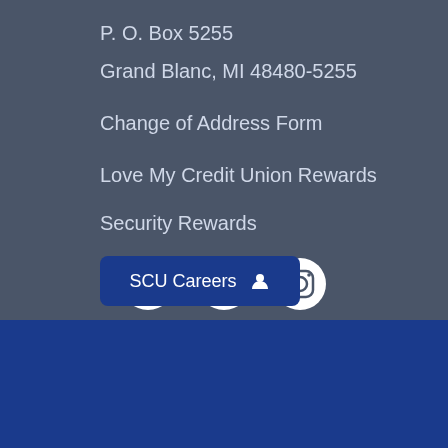P. O. Box 5255
Grand Blanc, MI 48480-5255
Change of Address Form
Love My Credit Union Rewards
Security Rewards
[Figure (infographic): Social media icons: Facebook, YouTube, Instagram]
[Figure (infographic): SCU Careers button with person icon]
FIND US  CALL US  HOURS